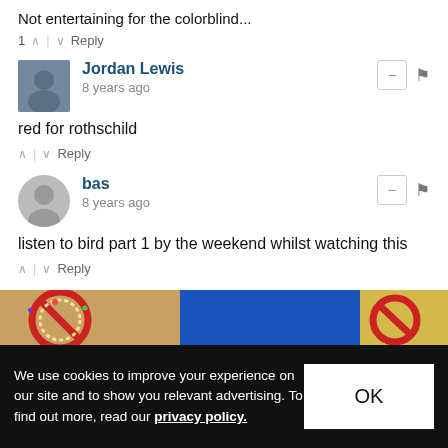Not entertaining for the colorblind...
1 ∧ | ∨ Reply
Jordan Lewis
8 years ago
red for rothschild
∧ | ∨ Reply
bas
8 years ago
listen to bird part 1 by the weekend whilst watching this
∧ | ∨ Reply
✉ Subscribe  ▲ Do Not Sell My Data
[Figure (photo): Colorful food advertisement image strip with donut/pastry visible]
We use cookies to improve your experience on our site and to show you relevant advertising. To find out more, read our privacy policy.